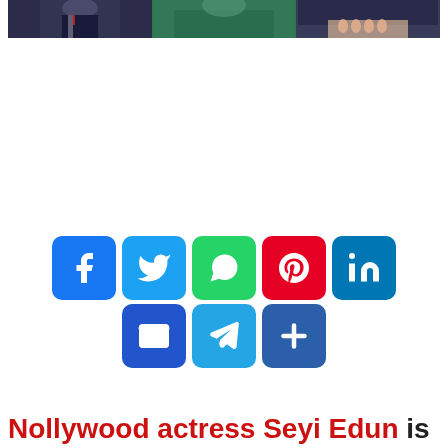[Figure (photo): Photo strip at top showing three people: left segment shows person in dark suit, center shows person in green outfit, right shows person in dark clothing with visible hand/nails]
[Figure (infographic): Social media share buttons: Facebook (blue), Twitter (blue), WhatsApp (green), Pinterest (red), LinkedIn (blue) in first row; Email (dark blue), Telegram (light blue), Share/Plus (blue) in second row]
Nollywood actress Seyi Edun is